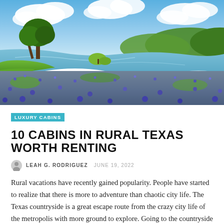[Figure (photo): Scenic Texas landscape with bluebonnet wildflowers in the foreground, a calm river winding through the middle ground, green grass, trees on the left bank, rolling tree-covered hills in the background, and dramatic blue sky with white clouds.]
LUXURY CABINS
10 CABINS IN RURAL TEXAS WORTH RENTING
LEAH G. RODRIGUEZ  JUNE 19, 2022
Rural vacations have recently gained popularity. People have started to realize that there is more to adventure than chaotic city life. The Texas countryside is a great escape route from the crazy city life of the metropolis with more ground to explore. Going to the countryside does not